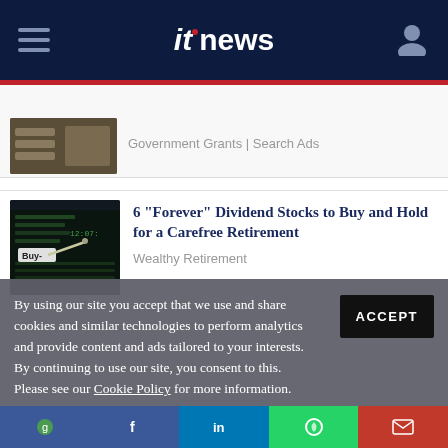itnews
Government Grants | Search Ads
6 "Forever" Dividend Stocks to Buy and Hold for a Carefree Retirement
Wealthy Retirement
By using our site you accept that we use and share cookies and similar technologies to perform analytics and provide content and ads tailored to your interests. By continuing to use our site, you consent to this. Please see our Cookie Policy for more information.